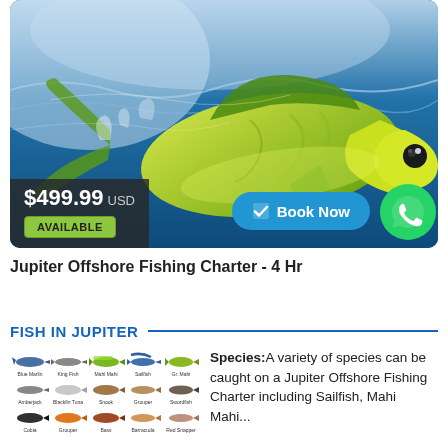[Figure (photo): Underwater/surface photo of a large yellow-green mahi-mahi (dorado) fish leaping out of blue water, used as hero image for a fishing charter listing.]
$499.99 USD
AVAILABLE
Book Now
Jupiter Offshore Fishing Charter - 4 Hr
FISH IN JUPITER
[Figure (illustration): Grid of illustrated fish species icons with labels, showing various species available on the Jupiter Offshore Fishing Charter.]
Species: A variety of species can be caught on a Jupiter Offshore Fishing Charter including Sailfish, Mahi Mahi...